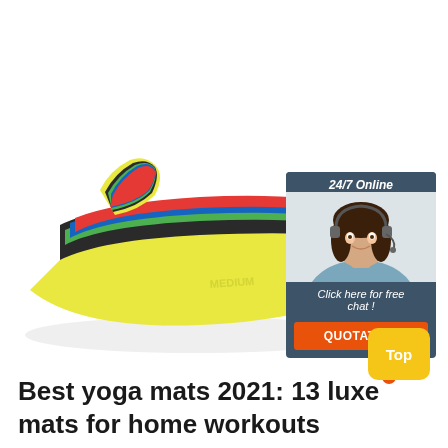[Figure (photo): Stack of colorful resistance exercise bands (yellow, green, blue, red) fanned out on white background, with 'MEDIUM' text visible on yellow band]
[Figure (infographic): Customer service chat widget with '24/7 Online' header, photo of smiling woman with headset, 'Click here for free chat!' text, and orange QUOTATION button on dark blue-grey background]
[Figure (other): Yellow rounded square 'Top' button with small orange circle dot below it]
Best yoga mats 2021: 13 luxe mats for home workouts